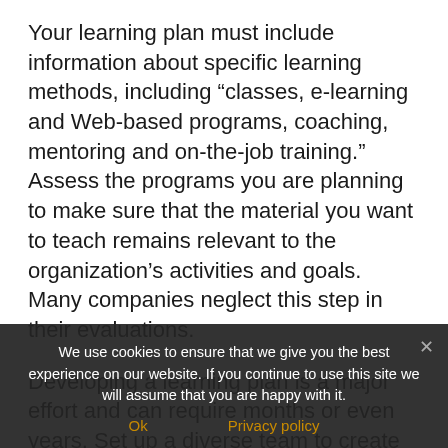Your learning plan must include information about specific learning methods, including “classes, e-learning and Web-based programs, coaching, mentoring and on-the-job training.” Assess the programs you are planning to make sure that the material you want to teach remains relevant to the organization’s activities and goals. Many companies neglect this step in their evaluations.
Developing a learning plan is a major effort and can require months or even years. Set up a diverse team to create your plan, and include well outside your organization as members, including customers. Have between five and fifteen people on your team. At your kickoff meeting, make sure everyone is willing to commit the time necessary to create the plan.
We use cookies to ensure that we give you the best experience on our website. If you continue to use this site we will assume that you are happy with it.